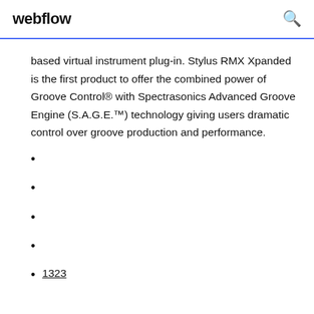webflow
based virtual instrument plug-in. Stylus RMX Xpanded is the first product to offer the combined power of Groove Control® with Spectrasonics Advanced Groove Engine (S.A.G.E.™) technology giving users dramatic control over groove production and performance.
1323